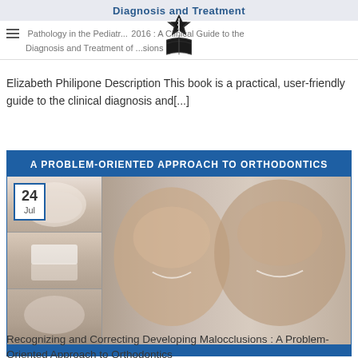Diagnosis and Treatment
≡  Pathology in the Pediatric ... 2016 : A Clinical Guide to the Diagnosis and Treatment of ... sions
[Figure (logo): Medical/dental logo: Star of Life with snake and rod, book below]
Elizabeth Philipone Description This book is a practical, user-friendly guide to the clinical diagnosis and[...]
[Figure (photo): Book cover: A Problem-Oriented Approach to Orthodontics — showing dental x-ray images on left and two smiling boys before/after orthodontic treatment on right, with blue header banner reading 'A PROBLEM-ORIENTED APPROACH TO ORTHODONTICS' and date badge '24 Jul']
Recognizing and Correcting Developing Malocclusions : A Problem-Oriented Approach to Orthodontics